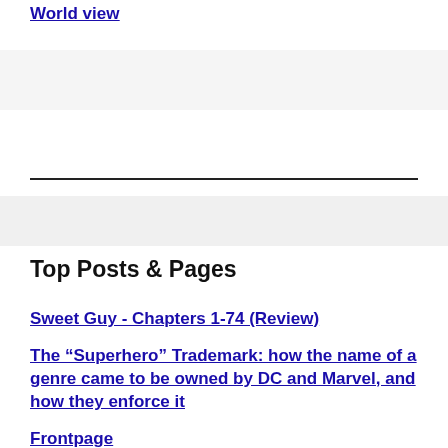World view
Top Posts & Pages
Sweet Guy - Chapters 1-74 (Review)
The “Superhero” Trademark: how the name of a genre came to be owned by DC and Marvel, and how they enforce it
Frontpage
A Eulogy for Marcus: Deadly Class #1-22